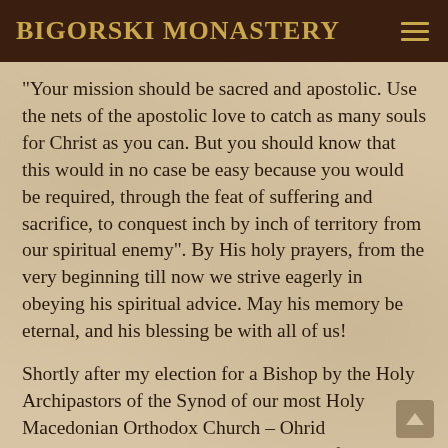BIGORSKI MONASTERY
“Your mission should be sacred and apostolic. Use the nets of the apostolic love to catch as many souls for Christ as you can. But you should know that this would in no case be easy because you would be required, through the feat of suffering and sacrifice, to conquest inch by inch of territory from our spiritual enemy”. By His holy prayers, from the very beginning till now we strive eagerly in obeying his spiritual advice. May his memory be eternal, and his blessing be with all of us!
Shortly after my election for a Bishop by the Holy Archipastors of the Synod of our most Holy Macedonian Orthodox Church – Ohrid Archbishopric, I stated that “monastic life remains the most sublime and primary vocation of my life”. The kindest God blessed me with a wonderful Christ-like monastic family, with my